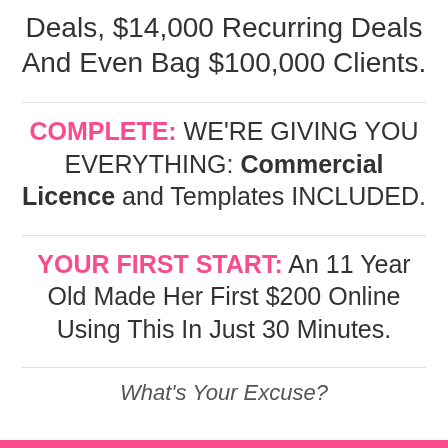Deals, $14,000 Recurring Deals And Even Bag $100,000 Clients.
COMPLETE: WE'RE GIVING YOU EVERYTHING: Commercial Licence and Templates INCLUDED.
YOUR FIRST START: An 11 Year Old Made Her First $200 Online Using This In Just 30 Minutes.
What's Your Excuse?